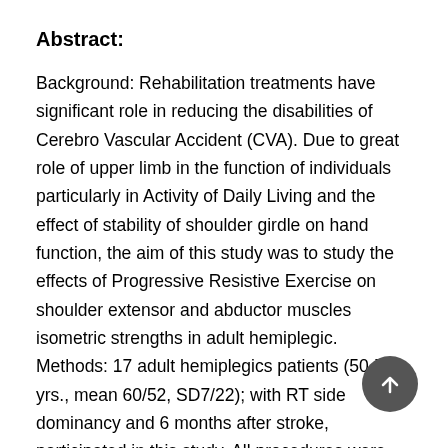Abstract:
Background: Rehabilitation treatments have significant role in reducing the disabilities of Cerebro Vascular Accident (CVA). Due to great role of upper limb in the function of individuals particularly in Activity of Daily Living and the effect of stability of shoulder girdle on hand function, the aim of this study was to study the effects of Progressive Resistive Exercise on shoulder extensor and abductor muscles isometric strengths in adult hemiplegic. Methods: 17 adult hemiplegics patients (50-70 yrs., mean 60/52, SD7/22); with RT side dominancy and 6 months after stroke, participated in this study. All procedures were approved by ethical committee of TUMS and written consents were also taken. Patients were familiarized with the procedure and shoulder extensor and abductor muscles isometric strengths were measured